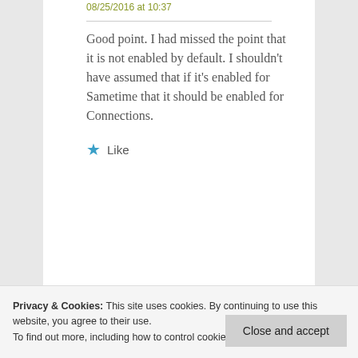08/25/2016 at 10:37
Good point. I had missed the point that it is not enabled by default. I shouldn't have assumed that if it's enabled for Sametime that it should be enabled for Connections.
★ Like
Privacy & Cookies: This site uses cookies. By continuing to use this website, you agree to their use.
To find out more, including how to control cookies, see here: Cookie Policy
Close and accept